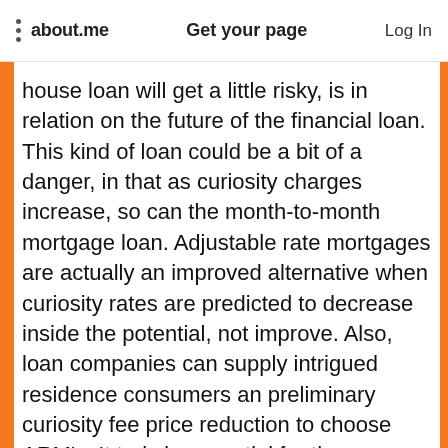about.me   Get your page   Log In
house loan will get a little risky, is in relation on the future of the financial loan. This kind of loan could be a bit of a danger, in that as curiosity charges increase, so can the month-to-month mortgage loan. Adjustable rate mortgages are actually an improved alternative when curiosity rates are predicted to decrease inside the potential, not improve. Also, loan companies can supply intrigued residence consumers an preliminary curiosity fee price reduction to choose ARM's. It truly is essential for the borrower to accomplish their homework to be sure that they will likely be spending sufficient of a house loan to include the monthly curiosity owing. In the event the preliminary mortgage is simply too small, borrowers can conclude up leading to their house loan stability to increase, given that their further interest is accruing throughout this time period